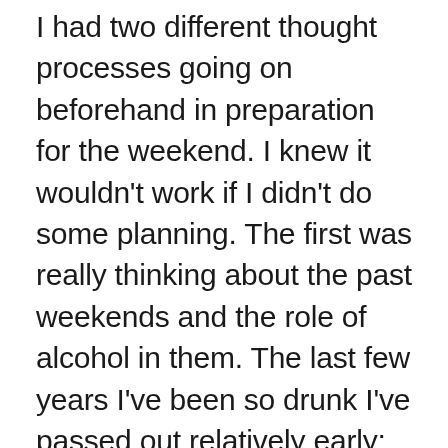I had two different thought processes going on beforehand in preparation for the weekend. I knew it wouldn't work if I didn't do some planning. The first was really thinking about the past weekends and the role of alcohol in them. The last few years I've been so drunk I've passed out relatively early; or not wanted to go on a walk the next day. My weekend was centred around drinking but for others that's just a part of it. I used to manage the alcohol and all the other fun too – I've